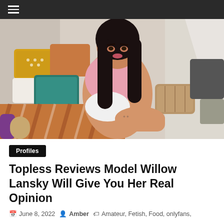Navigation bar with hamburger menu
[Figure (photo): A woman with long black hair wearing a pink and white outfit, sitting on a colorful blanket surrounded by decorative pillows in an indoor setting]
Profiles
Topless Reviews Model Willow Lansky Will Give You Her Real Opinion
June 8, 2022   Amber   Amateur, Fetish, Food, onlyfans, Real Girls